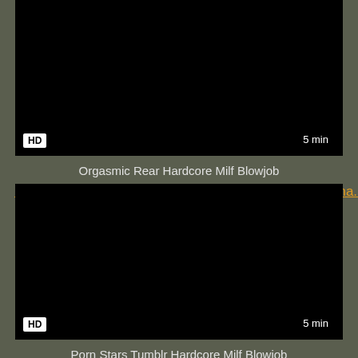[Figure (screenshot): Black video thumbnail with HD badge at bottom-left and '5 min' duration label at bottom-right]
Orgasmic Rear Hardcore Milf Blowjob
hardcore, milf, blowjob, big tits, cock suck, hot fuck, ama...
[Figure (screenshot): Black video thumbnail with HD badge at bottom-left and '5 min' duration label at bottom-right]
Porn Stars Tumblr Hardcore Milf Blowjob